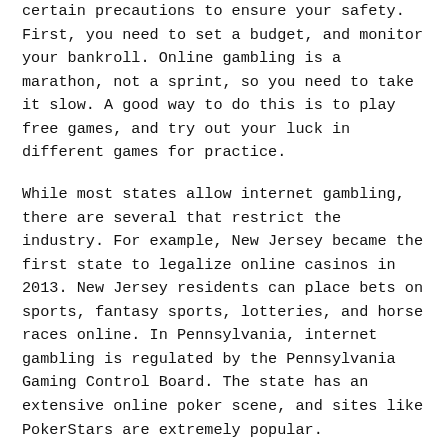certain precautions to ensure your safety. First, you need to set a budget, and monitor your bankroll. Online gambling is a marathon, not a sprint, so you need to take it slow. A good way to do this is to play free games, and try out your luck in different games for practice.
While most states allow internet gambling, there are several that restrict the industry. For example, New Jersey became the first state to legalize online casinos in 2013. New Jersey residents can place bets on sports, fantasy sports, lotteries, and horse races online. In Pennsylvania, internet gambling is regulated by the Pennsylvania Gaming Control Board. The state has an extensive online poker scene, and sites like PokerStars are extremely popular.
The morality of gambling is a contentious issue. Some people consider it to be a harmless, fun activity, while others consider it a health risk. However, most online gambling sites promote responsible gaming by allowing players to set limits and self-exclude. Regulations also ensure that platforms are run by reputable bodies that address allegations of misconduct.
However, the legality of online gambling in the United States is